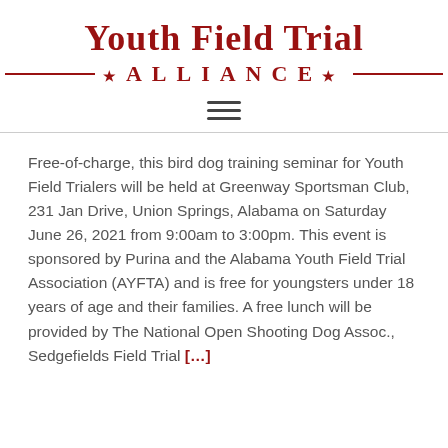Youth Field Trial ALLIANCE
Free-of-charge, this bird dog training seminar for Youth Field Trialers will be held at Greenway Sportsman Club, 231 Jan Drive, Union Springs, Alabama on Saturday June 26, 2021 from 9:00am to 3:00pm. This event is sponsored by Purina and the Alabama Youth Field Trial Association (AYFTA) and is free for youngsters under 18 years of age and their families. A free lunch will be provided by The National Open Shooting Dog Assoc., Sedgefields Field Trial […]